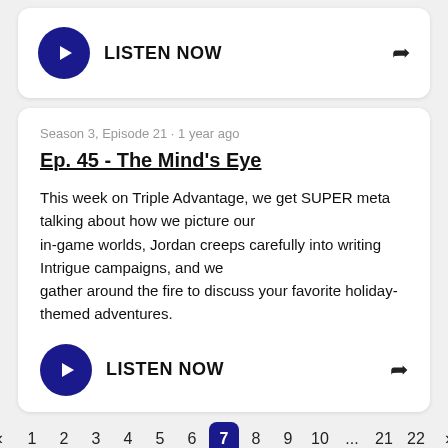[Figure (other): Play button (dark blue circle with white triangle) and LISTEN NOW text with share arrow icon]
Season 3, Episode 21 · 1 year ago
Ep. 45 - The Mind's Eye
This week on Triple Advantage, we get SUPER meta talking about how we picture our in-game worlds, Jordan creeps carefully into writing Intrigue campaigns, and we gather around the fire to discuss your favorite holiday-themed adventures.
[Figure (other): Play button (dark blue circle with white triangle) and LISTEN NOW text with share arrow icon]
‹ 1 2 3 4 5 6 7 8 9 10 ... 21 22 ›
Go to page  22  Go